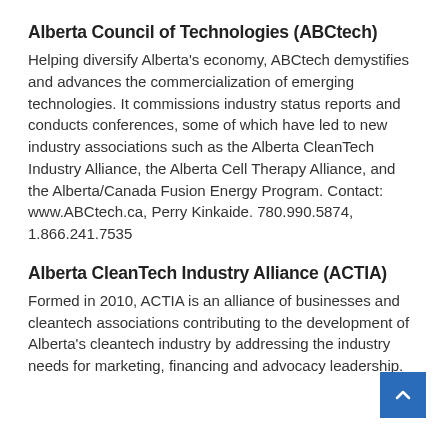Alberta Council of Technologies (ABCtech)
Helping diversify Alberta's economy, ABCtech demystifies and advances the commercialization of emerging technologies. It commissions industry status reports and conducts conferences, some of which have led to new industry associations such as the Alberta CleanTech Industry Alliance, the Alberta Cell Therapy Alliance, and the Alberta/Canada Fusion Energy Program. Contact: www.ABCtech.ca, Perry Kinkaide. 780.990.5874, 1.866.241.7535
Alberta CleanTech Industry Alliance (ACTIA)
Formed in 2010, ACTIA is an alliance of businesses and cleantech associations contributing to the development of Alberta's cleantech industry by addressing the industry needs for marketing, financing and advocacy leadership.